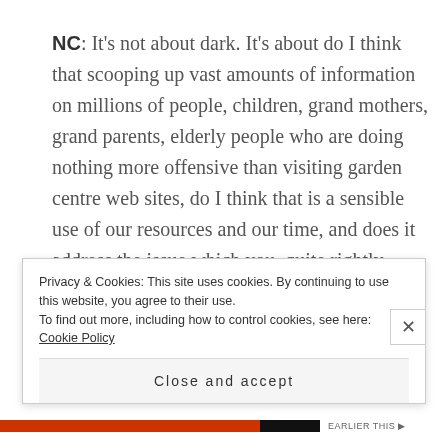NC: It's not about dark. It's about do I think that scooping up vast amounts of information on millions of people, children, grand mothers, grand parents, elderly people who are doing nothing more offensive than visiting garden centre web sites, do I think that is a sensible use of our resources and our time, and does it address the issue which you, quite rightly, identify, the agency, quite rightly identify, which is as technology mutates, as this globalized industry becomes more and more global, how do we make sure that we continue to have the reach into those dark spaces so that terrorists
Privacy & Cookies: This site uses cookies. By continuing to use this website, you agree to their use.
To find out more, including how to control cookies, see here: Cookie Policy
Close and accept